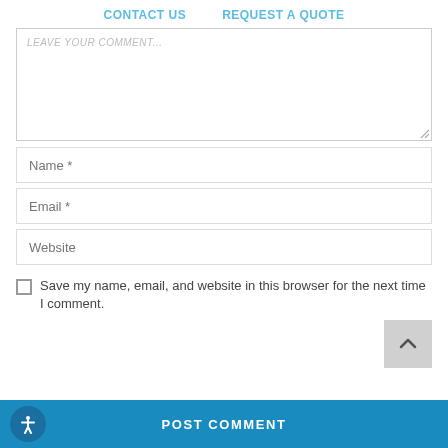CONTACT US   REQUEST A QUOTE
[Figure (screenshot): Partially visible textarea with placeholder text 'LEAVE YOUR COMMENT...' and resize handle]
Name *
Email *
Website
Save my name, email, and website in this browser for the next time I comment.
POST COMMENT